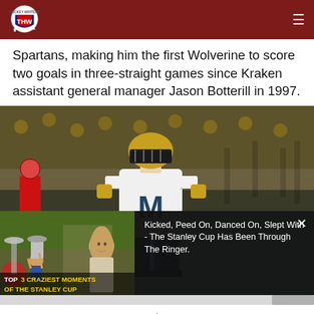THW - The Hockey Writers
Spartans, making him the first Wolverine to score two goals in three-straight games since Kraken assistant general manager Jason Botterill in 1997.
[Figure (photo): Michigan Wolverines hockey player wearing white uniform with yellow M logo and yellow helmet on the ice, with a red-uniformed opponent in the background and crowd in the stands.]
[Figure (screenshot): Video overlay showing a woman news presenter on left thumbnail with Stanley Cup celebration crowd, overlaid text reading TOP 3 CRAZIEST MOMENTS OF THE STANLEY CUP in yellow, and on the right dark background with white text: Kicked, Peed On, Danced On, Slept With - The Stanley Cup Has Been Through The Ringer.]